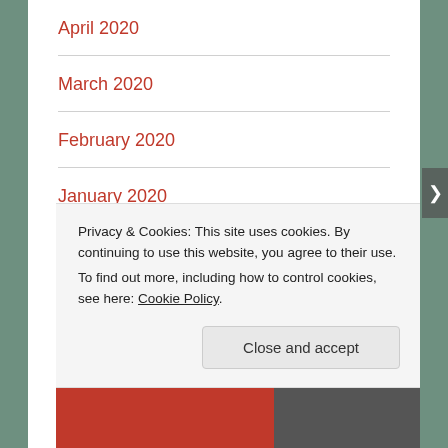April 2020
March 2020
February 2020
January 2020
June 2019
May 2019
April 2019
Privacy & Cookies:  This site uses cookies.  By continuing to use this website, you agree to their use.
To find out more, including how to control cookies, see here: Cookie Policy
Close and accept